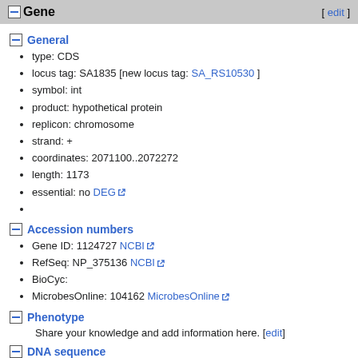Gene [ edit ]
General
type: CDS
locus tag: SA1835 [new locus tag: SA_RS10530 ]
symbol: int
product: hypothetical protein
replicon: chromosome
strand: +
coordinates: 2071100..2072272
length: 1173
essential: no DEG
Accession numbers
Gene ID: 1124727 NCBI
RefSeq: NP_375136 NCBI
BioCyc:
MicrobesOnline: 104162 MicrobesOnline
Phenotype
Share your knowledge and add information here. [edit]
DNA sequence